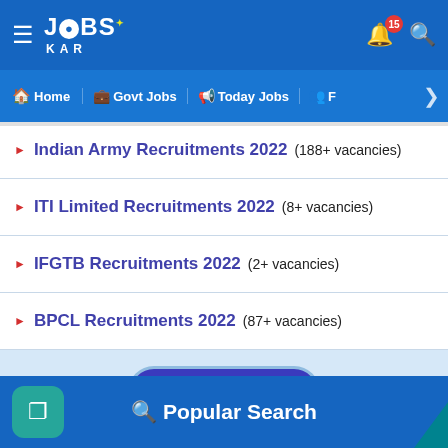[Figure (screenshot): JobsKar app header with logo, hamburger menu, notification bell with badge 15, and search icon]
≡ JOBS KAR | 🔔 15 🔍
Home | Govt Jobs | Today Jobs | F ▶
▶ Indian Army Recruitments 2022 (188+ vacancies)
▶ ITI Limited Recruitments 2022 (8+ vacancies)
▶ IFGTB Recruitments 2022 (2+ vacancies)
▶ BPCL Recruitments 2022 (87+ vacancies)
View All 🏛
🔍 Popular Search